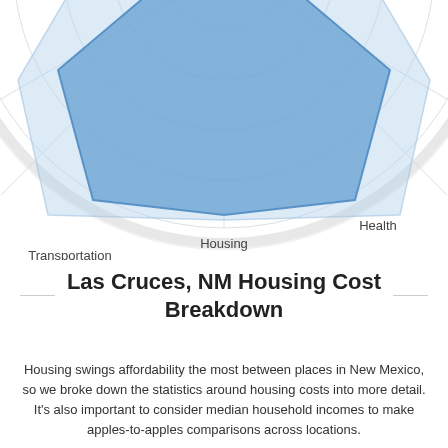[Figure (radar-chart): Partial radar/spider chart showing categories including Transportation (left), Health (right), and Housing (bottom). The chart area is partially visible — the top portion is cropped. The chart shows a filled blue polygon against concentric circular gridlines on a light background.]
Las Cruces, NM Housing Cost Breakdown
Housing swings affordability the most between places in New Mexico, so we broke down the statistics around housing costs into more detail. It's also important to consider median household incomes to make apples-to-apples comparisons across locations.